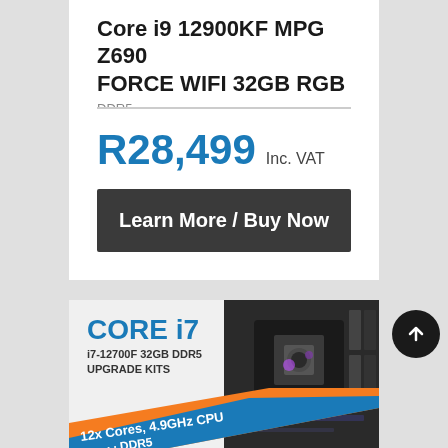Core i9 12900KF MPG Z690 FORCE WIFI 32GB RGB
R28,499 Inc. VAT
Learn More / Buy Now
[Figure (infographic): Core i7 i7-12700F 32GB DDR5 Upgrade Kits promotional banner with a motherboard image and text: 12x Cores, 4.9GHz CPU, DDR5]